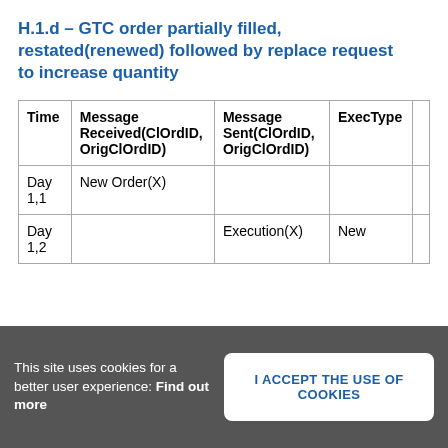H.1.d – GTC order partially filled, restated(renewed) followed by replace request to increase quantity
| Time | Message Received(ClOrdID, OrigClOrdID) | Message Sent(ClOrdID, OrigClOrdID) | ExecType |  |
| --- | --- | --- | --- | --- |
| Day 1,1 | New Order(X) |  |  |  |
| Day 1,2 |  | Execution(X) | New |  |
This site uses cookies for a better user experience: Find out more
I ACCEPT THE USE OF COOKIES